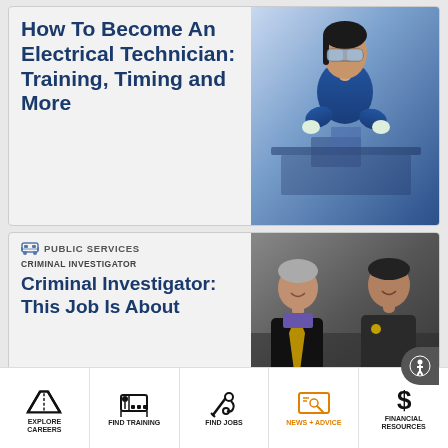How To Become An Electrical Technician: Training, Timing and More
[Figure (photo): Woman in blue lab coat and safety glasses working at a lab bench with equipment]
PUBLIC SERVICES
CRIMINAL INVESTIGATOR
Criminal Investigator: This Job Is About
[Figure (photo): Two men posing together, one in graduation attire with gold stole and one in a sheriff uniform]
EXPLORE CAREERS | FIND TRAINING | FIND JOBS | NEWS + ADVICE | FINANCIAL RESOURCES